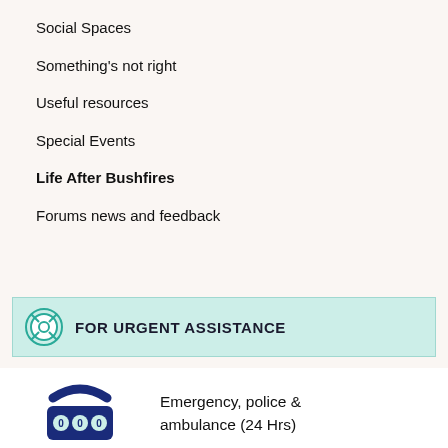Social Spaces
Something's not right
Useful resources
Special Events
Life After Bushfires
Forums news and feedback
FOR URGENT ASSISTANCE
Emergency, police & ambulance (24 Hrs)